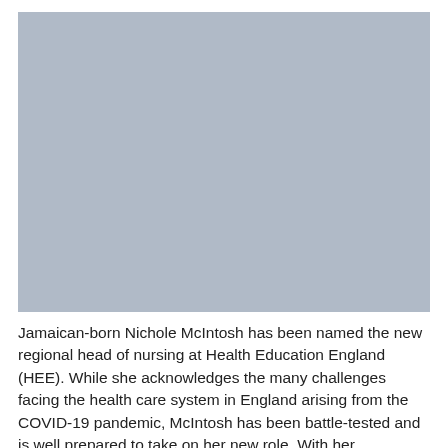[Figure (photo): A large placeholder photo area with a grey/blue-grey background, likely a portrait photo of Nichole McIntosh.]
Jamaican-born Nichole McIntosh has been named the new regional head of nursing at Health Education England (HEE). While she acknowledges the many challenges facing the health care system in England arising from the COVID-19 pandemic, McIntosh has been battle-tested and is well prepared to take on her new role. With her appointment